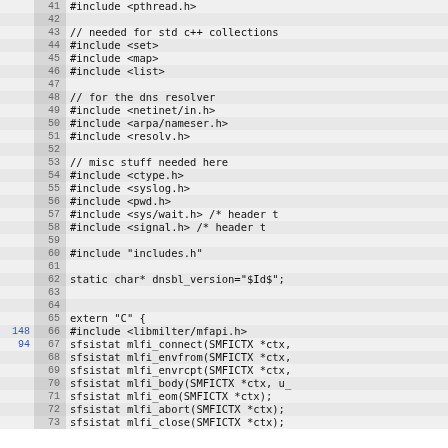Source code listing, lines 41-73, showing C++ include directives and extern C block with milter API declarations.